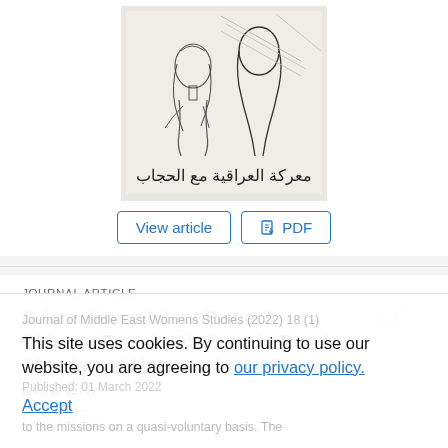[Figure (illustration): Pencil sketch illustration of two figures with Arabic text below reading 'معركة العراقية مع الحجاب']
View article
PDF
JOURNAL ARTICLE
Orientalism without Power?: Chinese Female Ob-Gyns in Rural Algeria and Morocco in the Post-Mao Era
Dongxin Zou
This site uses cookies. By continuing to use our website, you are agreeing to our privacy policy. Accept